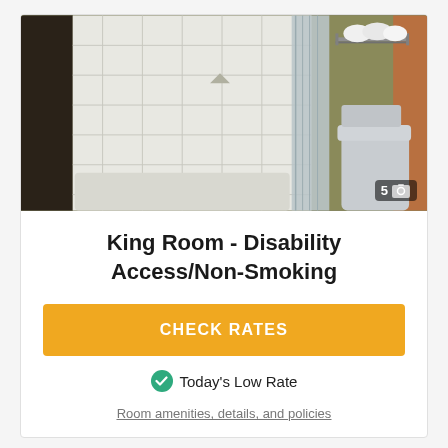[Figure (photo): Bathroom of a hotel king room showing a bathtub/shower with white tile walls and a blue-gray shower curtain on the left, and a toilet with rolled white towels on a metal shelf and a wooden door on the right. Image counter shows 5 photos.]
King Room - Disability Access/Non-Smoking
CHECK RATES
Today's Low Rate
Room amenities, details, and policies